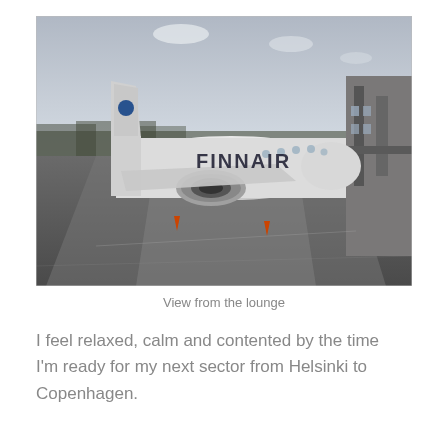[Figure (photo): A Finnair aircraft (white with FINNAIR livery on fuselage) parked at a jet bridge on a tarmac, viewed from inside a terminal lounge. Overcast sky in the background with trees on the horizon. Orange safety cones visible on the ground.]
View from the lounge
I feel relaxed, calm and contented by the time I'm ready for my next sector from Helsinki to Copenhagen.